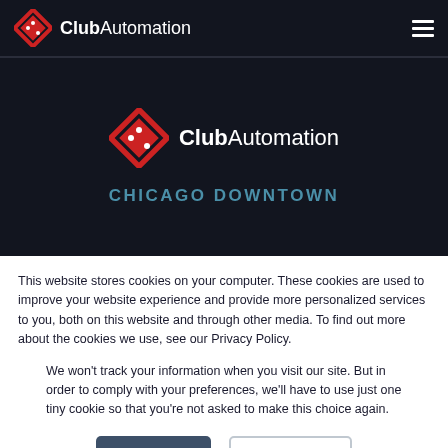[Figure (logo): Club Automation logo in navbar — red diamond shape with white dots, text 'ClubAutomation' in white]
[Figure (logo): Club Automation logo in hero section — larger red diamond shape with white dots, text 'ClubAutomation' in white]
CHICAGO DOWNTOWN
This website stores cookies on your computer. These cookies are used to improve your website experience and provide more personalized services to you, both on this website and through other media. To find out more about the cookies we use, see our Privacy Policy.
We won't track your information when you visit our site. But in order to comply with your preferences, we'll have to use just one tiny cookie so that you're not asked to make this choice again.